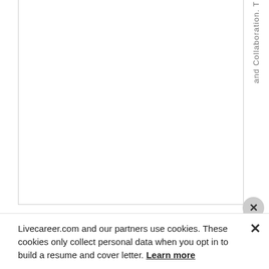and Collaboration. T
Livecareer.com and our partners use cookies. These cookies only collect personal data when you opt in to build a resume and cover letter. Learn more